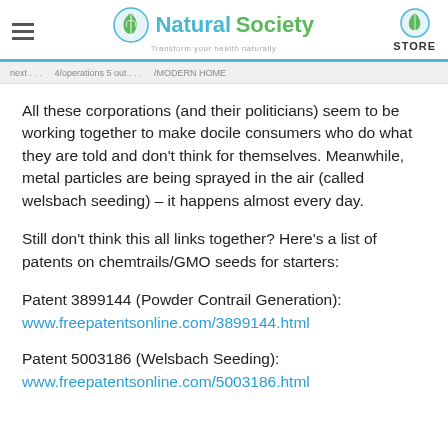Natural Society — Transform your health naturally | STORE
All these corporations (and their politicians) seem to be working together to make docile consumers who do what they are told and don't think for themselves. Meanwhile, metal particles are being sprayed in the air (called welsbach seeding) – it happens almost every day.
Still don't think this all links together? Here's a list of patents on chemtrails/GMO seeds for starters:
Patent 3899144 (Powder Contrail Generation): www.freepatentsonline.com/3899144.html
Patent 5003186 (Welsbach Seeding): www.freepatentsonline.com/5003186.html